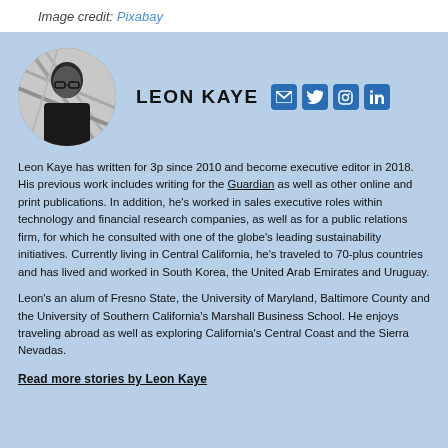Image credit: Pixabay
LEON KAYE
Leon Kaye has written for 3p since 2010 and become executive editor in 2018. His previous work includes writing for the Guardian as well as other online and print publications. In addition, he's worked in sales executive roles within technology and financial research companies, as well as for a public relations firm, for which he consulted with one of the globe's leading sustainability initiatives. Currently living in Central California, he's traveled to 70-plus countries and has lived and worked in South Korea, the United Arab Emirates and Uruguay.
Leon's an alum of Fresno State, the University of Maryland, Baltimore County and the University of Southern California's Marshall Business School. He enjoys traveling abroad as well as exploring California's Central Coast and the Sierra Nevadas.
Read more stories by Leon Kaye